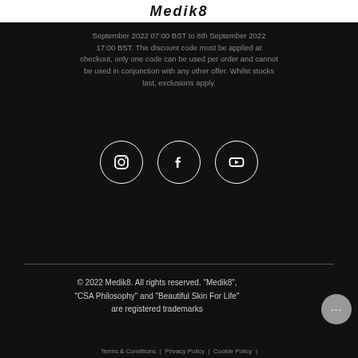Medik8
September 2022 07:00 BST to 8th September 2022 17:00 BST. The discount code must be applied at checkout, only one code can be used per order and cannot be used in conjunction with any other offer. Whilst stocks last, exclusions apply.
[Figure (illustration): Three social media icons in white circles on black background: Instagram, Facebook, YouTube]
© 2022 Medik8. All rights reserved. "Medik8", "CSA Philosophy" and "Beautiful Skin For Life" are registered trademarks
Terms & Conditions | Privacy Policy | Cookie Policy |